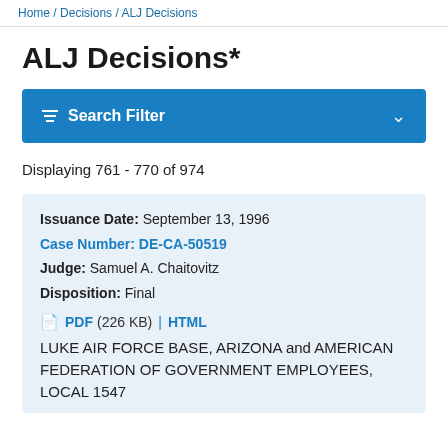Home / Decisions / ALJ Decisions
ALJ Decisions*
Search Filter
Displaying 761 - 770 of 974
Issuance Date: September 13, 1996
Case Number: DE-CA-50519
Judge: Samuel A. Chaitovitz
Disposition: Final
PDF (226 KB) | HTML
LUKE AIR FORCE BASE, ARIZONA and AMERICAN FEDERATION OF GOVERNMENT EMPLOYEES, LOCAL 1547